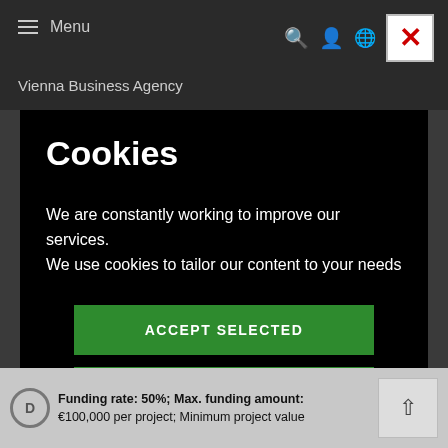Menu  Vienna Business Agency
Cookies
We are constantly working to improve our services. We use cookies to tailor our content to your needs
ACCEPT SELECTED
REJECT ALL
ACCEPT ALL
Funding rate: 50%; Max. funding amount: €100,000 per project; Minimum project value